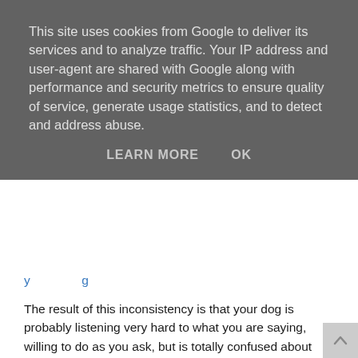[Figure (screenshot): Cookie consent banner overlay with grey background containing notice text and LEARN MORE / OK buttons]
The result of this inconsistency is that your dog is probably listening very hard to what you are saying, willing to do as you ask, but is totally confused about what is expected of him.
So when you think that your dog doesn't listen, it could be that you are confusing him by using inconsistent commands and failing to praise his success. For example, you may use 'no' to tell him to stop doing something, your partner may use 'stop it', your children might just shout his name. All of these commands could be interspersed with the odd 'A-ah', 'put it down', 'get off', 'stop being silly'…the list goes on.
Add to this the likelihood that you all have different rules: Some of your family allow him on the couch, some don't, some allow him on the couch at night when they are tired and can't be bothered to tell him to get off; Some allow him to jump up, some don't, some